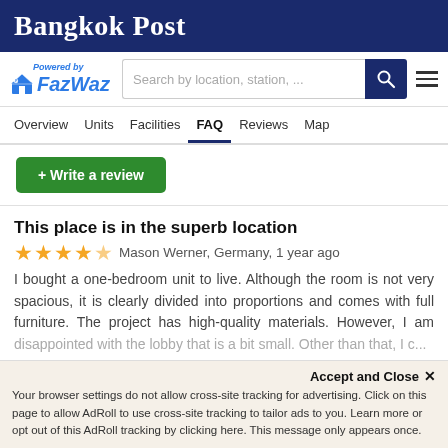Bangkok Post
[Figure (logo): FazWaz logo with 'Powered by' text above and house icon to the left of FazWaz brand name in blue italic text]
Search by location, station, ...
Overview  Units  Facilities  FAQ  Reviews  Map
+ Write a review
This place is in the superb location
★★★★½  Mason Werner, Germany, 1 year ago
I bought a one-bedroom unit to live. Although the room is not very spacious, it is clearly divided into proportions and comes with full furniture. The project has high-quality materials. However, I am disappointed with the lobby that is a bit small. Other than that, I c...
Accept and Close ✕
Your browser settings do not allow cross-site tracking for advertising. Click on this page to allow AdRoll to use cross-site tracking to tailor ads to you. Learn more or opt out of this AdRoll tracking by clicking here. This message only appears once.